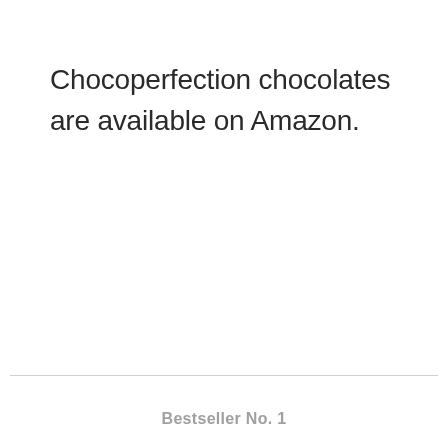Chocoperfection chocolates are available on Amazon.
Bestseller No. 1